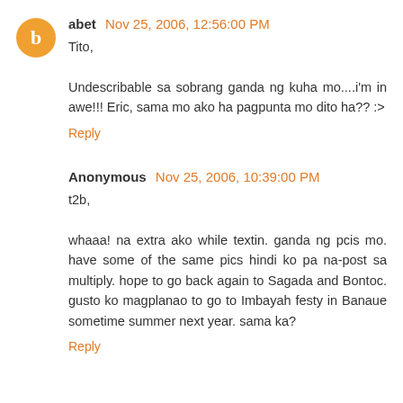abet Nov 25, 2006, 12:56:00 PM
Tito,

Undescribable sa sobrang ganda ng kuha mo....i'm in awe!!! Eric, sama mo ako ha pagpunta mo dito ha?? :>
Reply
Anonymous Nov 25, 2006, 10:39:00 PM
t2b,

whaaa! na extra ako while textin. ganda ng pcis mo. have some of the same pics hindi ko pa na-post sa multiply. hope to go back again to Sagada and Bontoc. gusto ko magplanao to go to Imbayah festy in Banaue sometime summer next year. sama ka?
Reply